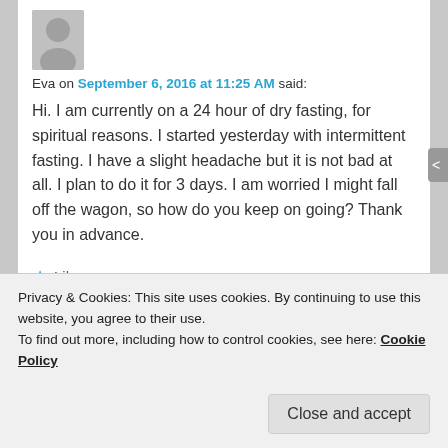[Figure (illustration): Gray silhouette avatar placeholder image]
Eva on September 6, 2016 at 11:25 AM said:
Hi. I am currently on a 24 hour of dry fasting, for spiritual reasons. I started yesterday with intermittent fasting. I have a slight headache but it is not bad at all. I plan to do it for 3 days. I am worried I might fall off the wagon, so how do you keep on going? Thank you in advance.
★ Like
Reply ↓
Privacy & Cookies: This site uses cookies. By continuing to use this website, you agree to their use.
To find out more, including how to control cookies, see here: Cookie Policy
Close and accept